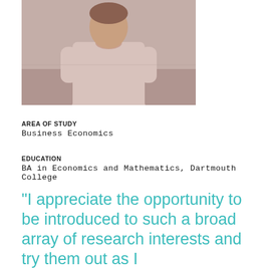[Figure (photo): Photo of a woman wearing a light pink/mauve short-sleeve top, photographed from approximately waist up against a light background.]
AREA OF STUDY
Business Economics
EDUCATION
BA in Economics and Mathematics, Dartmouth College
“I appreciate the opportunity to be introduced to such a broad array of research interests and try them out as I …”